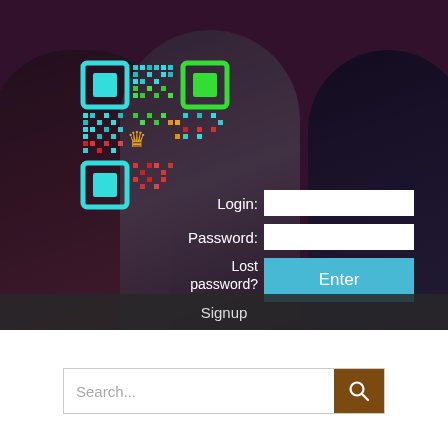[Figure (screenshot): Website login page with animated/illustrated characters background (three stylized female characters), a QR code in the upper left with cyan/green/red coloring and an orange crown icon, login form fields for Login and Password, Lost password link, Enter button (cyan), Signup bar, and a search bar at the bottom.]
Login:
Password:
Lost password?
Enter
Signup
Search...